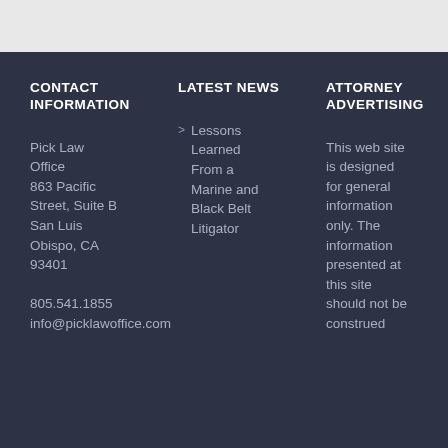CONTACT INFORMATION
Pick Law Office
863 Pacific Street, Suite B
San Luis Obispo, CA 93401

805.541.1855
info@picklawoffice.com
LATEST NEWS
Lessons Learned From a Marine and Black Belt Litigator
ATTORNEY ADVERTISING
This web site is designed for general information only. The information presented at this site should not be construed